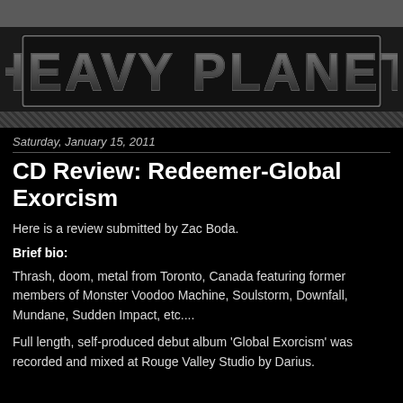[Figure (logo): Heavy Planet logo in metallic dark block letters with outlined border style]
Saturday, January 15, 2011
CD Review: Redeemer-Global Exorcism
Here is a review submitted by Zac Boda.
Brief bio:
Thrash, doom, metal from Toronto, Canada featuring former members of Monster Voodoo Machine, Soulstorm, Downfall, Mundane, Sudden Impact, etc....
Full length, self-produced debut album 'Global Exorcism' was recorded and mixed at Rouge Valley Studio by Darius.